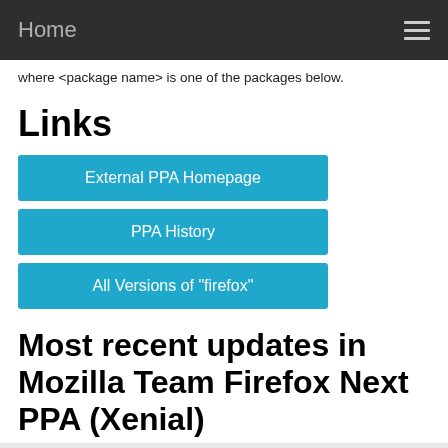Home
where <package name> is one of the packages below.
Links
External PPA Homepage
PPA History
All Versions of "firefox"
Most recent updates in Mozilla Team Firefox Next PPA (Xenial)